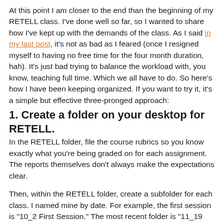At this point I am closer to the end than the beginning of my RETELL class.  I've done well so far, so I wanted to share how I've kept up with the demands of the class.  As I said in my last post, it's not as bad as I feared (once I resigned myself to having no free time for the four month duration, hah).  It's just bad trying to balance the workload with, you know, teaching full time.  Which we all have to do.  So here's how I have been keeping organized.  If you want to try it, it's a simple but effective three-pronged approach:
1.  Create a folder on your desktop for RETELL.
In the RETELL folder, file the course rubrics so you know exactly what you're being graded on for each assignment.  The reports themselves don't always make the expectations clear.
Then, within the RETELL folder, create a subfolder for each class.  I named mine by date.  For example, the first session is "10_2 First Session."  The most recent folder is "11_19 Seventh Session."  This is important because there is more material online (you will have to register with the DESE's